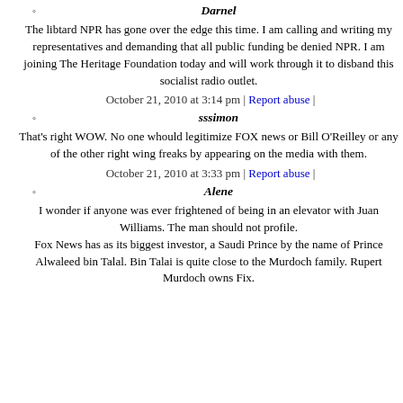Darnel
The libtard NPR has gone over the edge this time. I am calling and writing my representatives and demanding that all public funding be denied NPR. I am joining The Heritage Foundation today and will work through it to disband this socialist radio outlet.
October 21, 2010 at 3:14 pm | Report abuse |
sssimon
That's right WOW. No one whould legitimize FOX news or Bill O'Reilley or any of the other right wing freaks by appearing on the media with them.
October 21, 2010 at 3:33 pm | Report abuse |
Alene
I wonder if anyone was ever frightened of being in an elevator with Juan Williams. The man should not profile.
Fox News has as its biggest investor, a Saudi Prince by the name of Prince Alwaleed bin Talal. Bin Talai is quite close to the Murdoch family. Rupert Murdoch owns Fix.